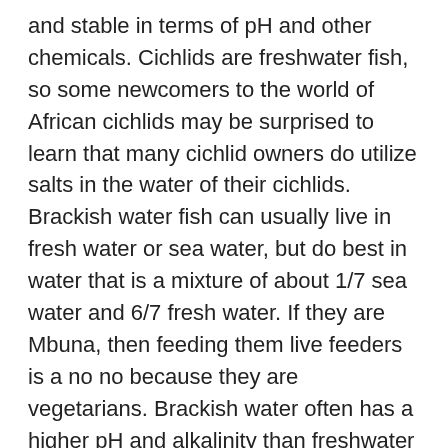and stable in terms of pH and other chemicals. Cichlids are freshwater fish, so some newcomers to the world of African cichlids may be surprised to learn that many cichlid owners do utilize salts in the water of their cichlids. Brackish water fish can usually live in fresh water or sea water, but do best in water that is a mixture of about 1/7 sea water and 6/7 fresh water. If they are Mbuna, then feeding them live feeders is a no no because they are vegetarians. Brackish water often has a higher pH and alkalinity than freshwater as well. The mbuna cichlids are among the more brightly-colored cichlid subspecies out there. Call 801-572-2009 to buy your Malawi Cichlids at Live Fish Direct It is also commonly created as a result of big human civil engineering involvement, such as in the construction of dykes and dams, and as a result of the salinity gradient power